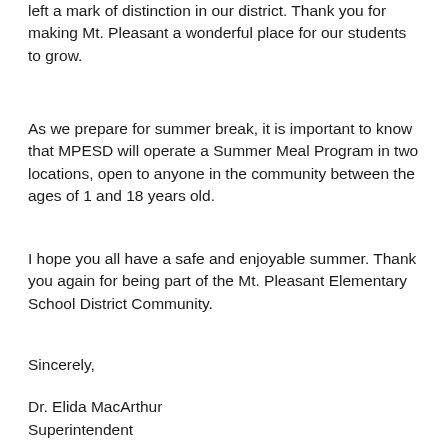left a mark of distinction in our district. Thank you for making Mt. Pleasant a wonderful place for our students to grow.
As we prepare for summer break, it is important to know that MPESD will operate a Summer Meal Program in two locations, open to anyone in the community between the ages of 1 and 18 years old.
I hope you all have a safe and enjoyable summer. Thank you again for being part of the Mt. Pleasant Elementary School District Community.
Sincerely,
Dr. Elida MacArthur
Superintendent
Please see a special message from Dr. MacArthur
[Figure (photo): Video thumbnail with dark bar and photo of Dr. MacArthur]